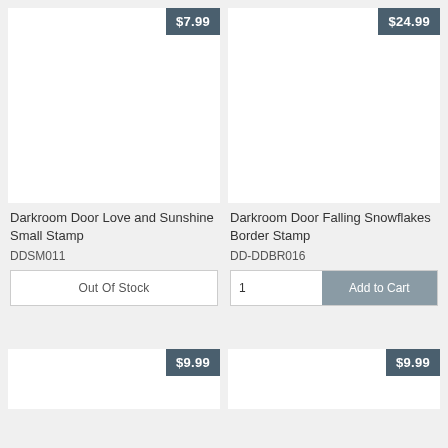[Figure (photo): Product image area for Darkroom Door Love and Sunshine Small Stamp, white background with price badge $7.99]
Darkroom Door Love and Sunshine Small Stamp
DDSM011
Out Of Stock
[Figure (photo): Product image area for Darkroom Door Falling Snowflakes Border Stamp, white background with price badge $24.99]
Darkroom Door Falling Snowflakes Border Stamp
DD-DDBR016
1  Add to Cart
[Figure (photo): Partial product image area, white background with price badge $9.99]
[Figure (photo): Partial product image area, white background with price badge $9.99]